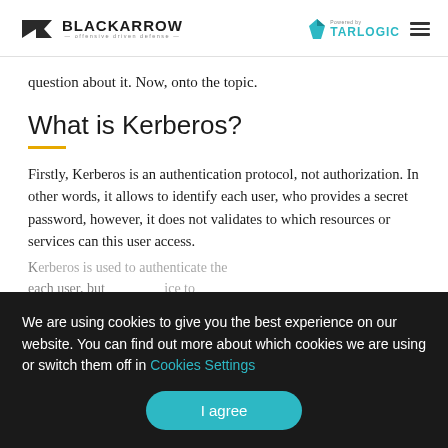BLACK ARROW — offensive driven defense | Powered by TARLOGIC
question about it. Now, onto the topic.
What is Kerberos?
Firstly, Kerberos is an authentication protocol, not authorization. In other words, it allows to identify each user, who provides a secret password, however, it does not validates to which resources or services can this user access.
Kerberos is used to authenticate each user, but it relies on another service to determine if the user has access to resources.
Kerberos (from...
We are using cookies to give you the best experience on our website. You can find out more about which cookies we are using or switch them off in Cookies Settings
I agree